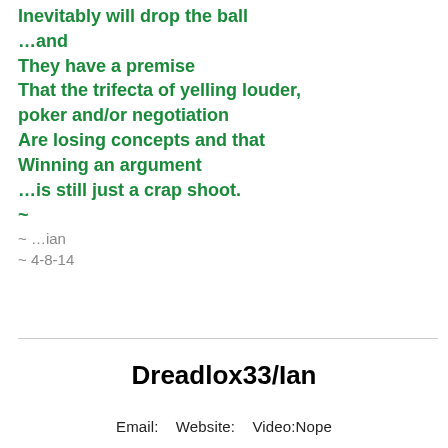Inevitably will drop the ball
…and
They have a premise
That the trifecta of yelling louder,
poker and/or negotiation
Are losing concepts and that
Winning an argument
…is still just a crap shoot.
~
~ …ian
~ 4-8-14
Dreadlox33/Ian
Email:    Website:    Video:Nope